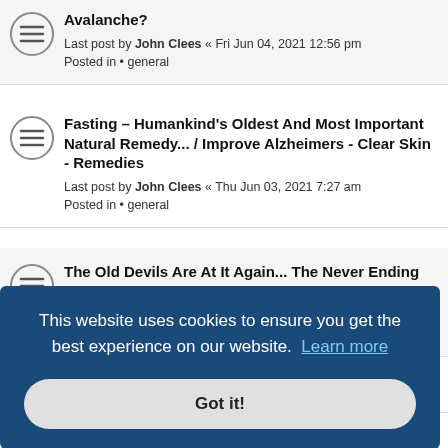Avalanche? Last post by John Clees « Fri Jun 04, 2021 12:56 pm Posted in • general
Fasting – Humankind's Oldest And Most Important Natural Remedy... / Improve Alzheimers - Clear Skin - Remedies
Last post by John Clees « Thu Jun 03, 2021 7:27 am
Posted in • general
The Old Devils Are At It Again... The Never Ending War on Humanity
Last post by John Clees « Mon May 24, 2021 10:43 pm
Posted in • general
[release SM191] – Sergey Sereda – Sentyabr –
This website uses cookies to ensure you get the best experience on our website. Learn more
Got it!
ght EP
m
If you collect 100 red ants and 100 black ants